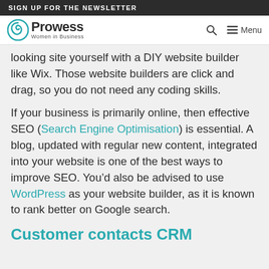SIGN UP FOR THE NEWSLETTER
[Figure (logo): Prowess Women in Business logo with teal spiral icon]
looking site yourself with a DIY website builder like Wix. Those website builders are click and drag, so you do not need any coding skills.
If your business is primarily online, then effective SEO (Search Engine Optimisation) is essential. A blog, updated with regular new content, integrated into your website is one of the best ways to improve SEO. You’d also be advised to use WordPress as your website builder, as it is known to rank better on Google search.
Customer contacts CRM